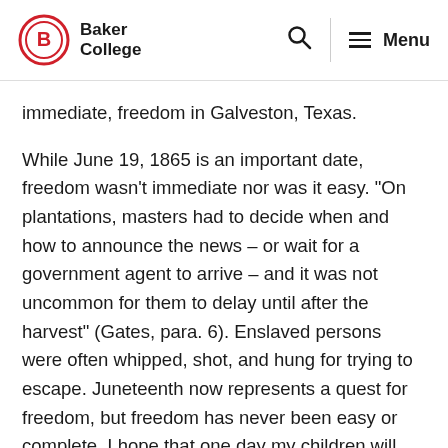Baker College
immediate, freedom in Galveston, Texas.
While June 19, 1865 is an important date, freedom wasn’t immediate nor was it easy. “On plantations, masters had to decide when and how to announce the news – or wait for a government agent to arrive – and it was not uncommon for them to delay until after the harvest” (Gates, para. 6). Enslaved persons were often whipped, shot, and hung for trying to escape. Juneteenth now represents a quest for freedom, but freedom has never been easy or complete. I hope that one day my children will get to hear stories from their birth families about the courageousness of the family member who decided it was time to leave. Were they allowed to leave or did they run in the dead